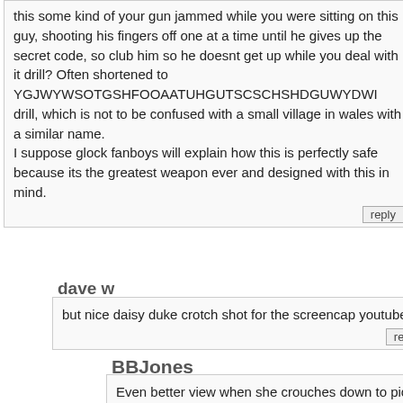this some kind of your gun jammed while you were sitting on this guy, shooting his fingers off one at a time until he gives up the secret code, so club him so he doesnt get up while you deal with it drill? Often shortened to YGJWYWSOTGSHFOOAATUHGUTSCSCHSHDGUWYDWI drill, which is not to be confused with a small village in wales with a similar name.
I suppose glock fanboys will explain how this is perfectly safe because its the greatest weapon ever and designed with this in mind.
dave w
but nice daisy duke crotch shot for the screencap youtube :D
BBJones
Even better view when she crouches down to pick up the empty magazine. Wearing daisy dukes to do this kind of crap is screaming for attention.